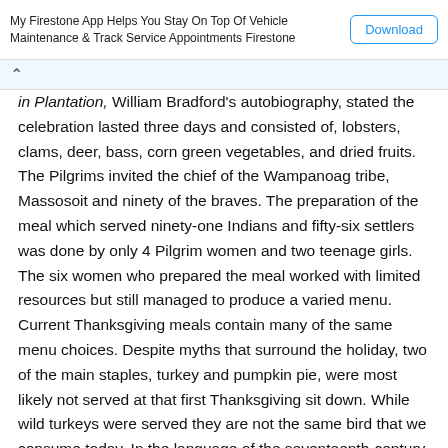My Firestone App Helps You Stay On Top Of Vehicle Maintenance & Track Service Appointments Firestone | Download
in Plantation, William Bradford's autobiography, stated the celebration lasted three days and consisted of, lobsters, clams, deer, bass, corn green vegetables, and dried fruits. The Pilgrims invited the chief of the Wampanoag tribe, Massosoit and ninety of the braves. The preparation of the meal which served ninety-one Indians and fifty-six settlers was done by only 4 Pilgrim women and two teenage girls. The six women who prepared the meal worked with limited resources but still managed to produce a varied menu. Current Thanksgiving meals contain many of the same menu choices. Despite myths that surround the holiday, two of the main staples, turkey and pumpkin pie, were most likely not served at that first Thanksgiving sit down. While wild turkeys were served they are not the same bird that we consume today. In the language of the seventeenth-century Pilgrim,